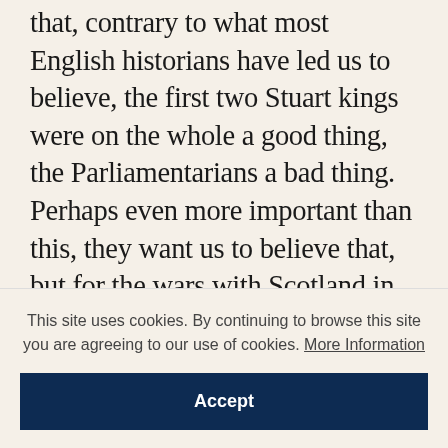that, contrary to what most English historians have led us to believe, the first two Stuart kings were on the whole a good thing, the Parliamentarians a bad thing. Perhaps even more important than this, they want us to believe that, but for the wars with Scotland in 1639 and 1640, there would have been no Parliamentarians at all: in other words, that the notion of a sustained Parliamentary opposition to James I and Charles I, leading inevitably to a military conflict fought over constitutional principles, cannot be sustained. Indeed, they look with deep suspicion at any
This site uses cookies. By continuing to browse this site you are agreeing to our use of cookies. More Information
Accept